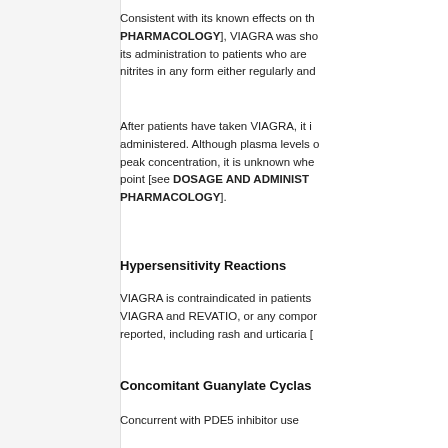Consistent with its known effects on th... PHARMACOLOGY], VIAGRA was sho... its administration to patients who are ... nitrites in any form either regularly and...
After patients have taken VIAGRA, it i... administered. Although plasma levels o... peak concentration, it is unknown whe... point [see DOSAGE AND ADMINIST... PHARMACOLOGY].
Hypersensitivity Reactions
VIAGRA is contraindicated in patients... VIAGRA and REVATIO, or any compor... reported, including rash and urticaria [...
Concomitant Guanylate Cyclas...
Concurrent with PDE5 inhibitor use...